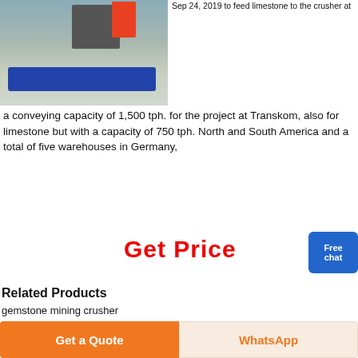[Figure (photo): Industrial conveyor/crusher equipment on a blue platform in a factory or plant setting]
Sep 24, 2019 to feed limestone to the crusher at a conveying capacity of 1,500 tph. for the project at Transkom, also for limestone but with a capacity of 750 tph. North and South America and a total of five warehouses in Germany,
Get Price
Related Products
gemstone mining crusher
chain hammer mill manufacturers in india
ore crusher mining machinery and equipment
coal crushing plant 100 tons an hour
venta de trituradoras forrageras
vsi vertical shaft impactor crusher cme
roll gold ores compression
Get a Quote
WhatsApp